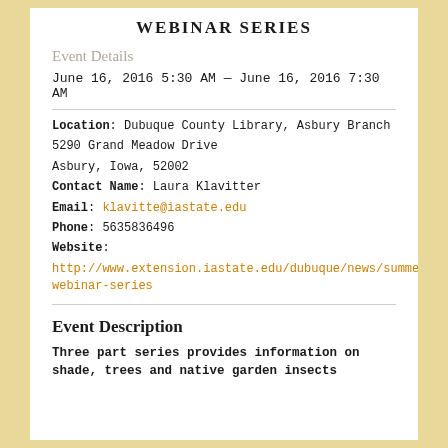WEBINAR SERIES
Event Details
June 16, 2016 5:30 AM — June 16, 2016 7:30 AM
Location: Dubuque County Library, Asbury Branch
5290 Grand Meadow Drive
Asbury, Iowa, 52002
Contact Name: Laura Klavitter
Email: klavitte@iastate.edu
Phone: 5635836496
Website:
http://www.extension.iastate.edu/dubuque/news/summer-webinar-series
Event Description
Three part series provides information on shade, trees and native garden insects